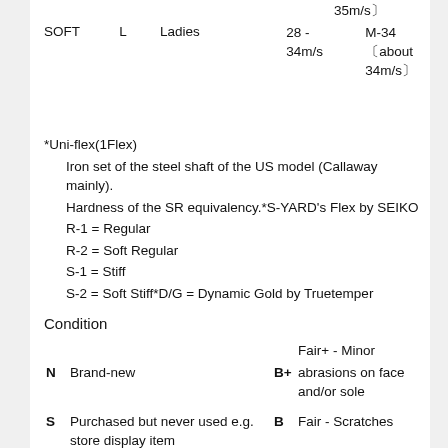35m/s〕
SOFT    L    Ladies    28 - 34m/s    M-34 〔about 34m/s〕
*Uni-flex(1Flex)
    Iron set of the steel shaft of the US model (Callaway mainly).
    Hardness of the SR equivalency.*S-YARD's Flex by SEIKO
    R-1 = Regular
    R-2 = Soft Regular
    S-1 = Stiff
    S-2 = Soft Stiff*D/G = Dynamic Gold by Truetemper
Condition
N  Brand-new    B+  Fair+ - Minor abrasions on face and/or sole
S  Purchased but never used e.g. store display item    B  Fair - Scratches
Very Good - Very minor    Fair- - Scratches and